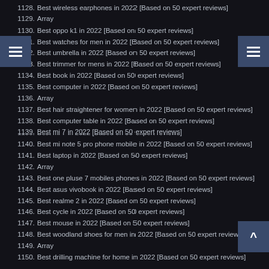1128. Best wireless earphones in 2022 [Based on 50 expert reviews]
1129. Array
1130. Best oppo k1 in 2022 [Based on 50 expert reviews]
1131. Best watches for men in 2022 [Based on 50 expert reviews]
1132. Best umbrella in 2022 [Based on 50 expert reviews]
1133. Best trimmer for mens in 2022 [Based on 50 expert reviews]
1134. Best book in 2022 [Based on 50 expert reviews]
1135. Best computer in 2022 [Based on 50 expert reviews]
1136. Array
1137. Best hair straightener for women in 2022 [Based on 50 expert reviews]
1138. Best computer table in 2022 [Based on 50 expert reviews]
1139. Best mi 7 in 2022 [Based on 50 expert reviews]
1140. Best mi note 5 pro phone mobile in 2022 [Based on 50 expert reviews]
1141. Best laptop in 2022 [Based on 50 expert reviews]
1142. Array
1143. Best one pluse 7 mobiles phones in 2022 [Based on 50 expert reviews]
1144. Best asus vivobook in 2022 [Based on 50 expert reviews]
1145. Best realme 2 in 2022 [Based on 50 expert reviews]
1146. Best cycle in 2022 [Based on 50 expert reviews]
1147. Best mouse in 2022 [Based on 50 expert reviews]
1148. Best woodland shoes for men in 2022 [Based on 50 expert reviews]
1149. Array
1150. Best drilling machine for home in 2022 [Based on 50 expert reviews]